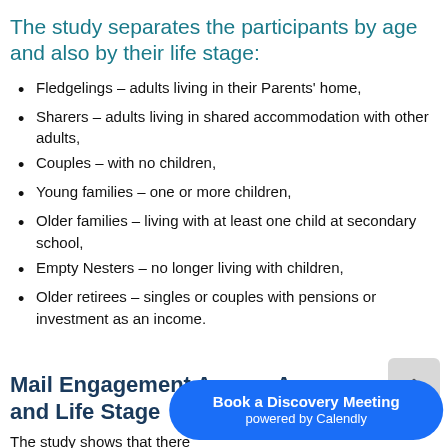The study separates the participants by age and also by their life stage:
Fledgelings – adults living in their Parents' home,
Sharers – adults living in shared accommodation with other adults,
Couples – with no children,
Young families – one or more children,
Older families – living with at least one child at secondary school,
Empty Nesters – no longer living with children,
Older retirees – singles or couples with pensions or investment as an income.
Mail Engagement Across Age and Life Stage
The study shows that there groups in terms of how direct